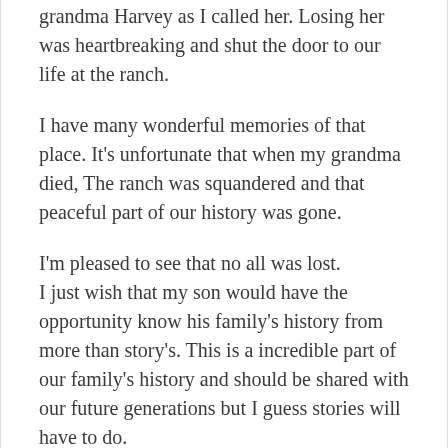grandma Harvey as I called her. Losing her was heartbreaking and shut the door to our life at the ranch.
I have many wonderful memories of that place. It's unfortunate that when my grandma died, The ranch was squandered and that peaceful part of our history was gone.
I'm pleased to see that no all was lost.
I just wish that my son would have the opportunity know his family's history from more than story's. This is a incredible part of our family's history and should be shared with our future generations but I guess stories will have to do.
Thank you Wendell for restoring what you can of the historical family ranch I remember.
Sincerely

Lacie LaLyn